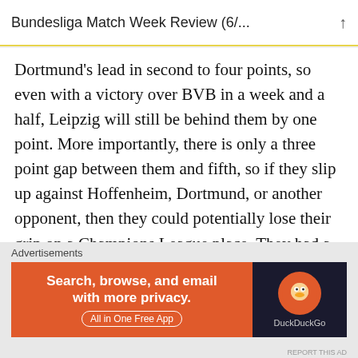Bundesliga Match Week Review (6/...
Dortmund's lead in second to four points, so even with a victory over BVB in a week and a half, Leipzig will still be behind them by one point. More importantly, there is only a three point gap between them and fifth, so if they slip up against Hoffenheim, Dortmund, or another opponent, then they could potentially lose their grip on a Champions League place. They had a significantly easier opponent this weekend than either Gladbach, who lost to Freiburg, or Leverkusen, who lost to Bayern, so not being able to come
[Figure (screenshot): DuckDuckGo advertisement banner with orange background on left side reading 'Search, browse, and email with more privacy. All in One Free App' and dark right side with DuckDuckGo logo]
Advertisements